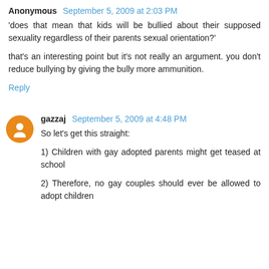Anonymous September 5, 2009 at 2:03 PM
'does that mean that kids will be bullied about their supposed sexuality regardless of their parents sexual orientation?'

that's an interesting point but it's not really an argument. you don't reduce bullying by giving the bully more ammunition.
Reply
gazzaj September 5, 2009 at 4:48 PM
So let's get this straight:

1) Children with gay adopted parents might get teased at school

2) Therefore, no gay couples should ever be allowed to adopt children